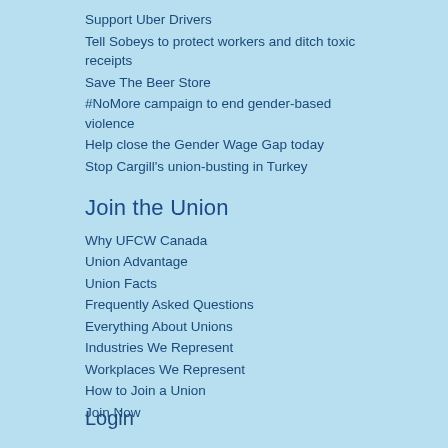Support Uber Drivers
Tell Sobeys to protect workers and ditch toxic receipts
Save The Beer Store
#NoMore campaign to end gender-based violence
Help close the Gender Wage Gap today
Stop Cargill's union-busting in Turkey
Join the Union
Why UFCW Canada
Union Advantage
Union Facts
Frequently Asked Questions
Everything About Unions
Industries We Represent
Workplaces We Represent
How to Join a Union
Join Now
Login